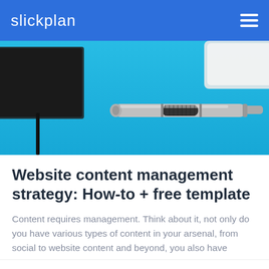slickplan
[Figure (photo): A blue background with a silver pen/stylus and a dark leather notebook partially visible, along with a white device in the corner. Shot from above on a bright blue surface.]
Website content management strategy: How-to + free template
Content requires management. Think about it, not only do you have various types of content in your arsenal, from social to website content and beyond, you also have content creators...
Continue reading